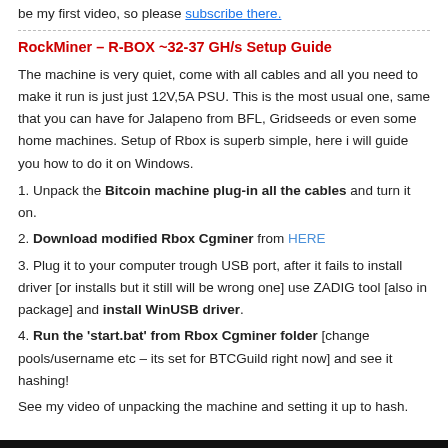be my first video, so please subscribe there.
RockMiner – R-BOX ~32-37 GH/s Setup Guide
The machine is very quiet, come with all cables and all you need to make it run is just just 12V,5A PSU. This is the most usual one, same that you can have for Jalapeno from BFL, Gridseeds or even some home machines. Setup of Rbox is superb simple, here i will guide you how to do it on Windows.
1. Unpack the Bitcoin machine plug-in all the cables and turn it on.
2. Download modified Rbox Cgminer from HERE
3. Plug it to your computer trough USB port, after it fails to install driver [or installs but it still will be wrong one] use ZADIG tool [also in package] and install WinUSB driver.
4. Run the 'start.bat' from Rbox Cgminer folder [change pools/username etc – its set for BTCGuild right now] and see it hashing!
See my video of unpacking the machine and setting it up to hash.